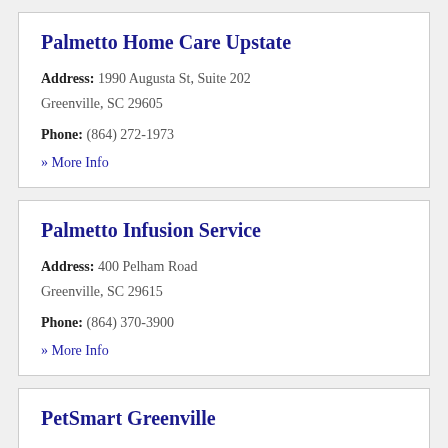Palmetto Home Care Upstate
Address: 1990 Augusta St, Suite 202 Greenville, SC 29605
Phone: (864) 272-1973
» More Info
Palmetto Infusion Service
Address: 400 Pelham Road Greenville, SC 29615
Phone: (864) 370-3900
» More Info
PetSmart Greenville